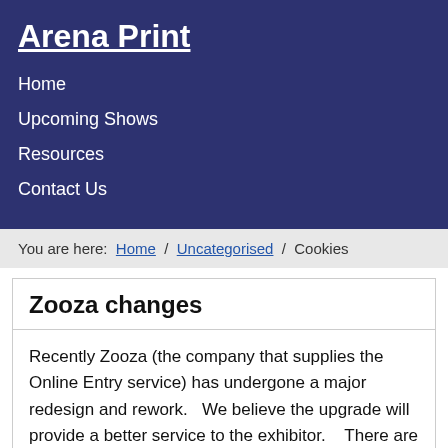Arena Print
Home
Upcoming Shows
Resources
Contact Us
You are here: Home / Uncategorised / Cookies
Zooza changes
Recently Zooza (the company that supplies the Online Entry service) has undergone a major redesign and rework.   We believe the upgrade will provide a better service to the exhibitor.    There are